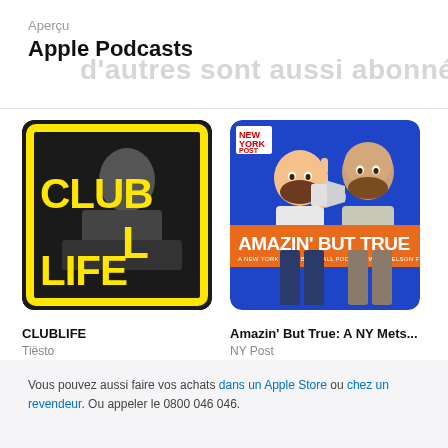Aperçu
Apple Podcasts
d'autres sont aussi abonnés à...
[Figure (illustration): CLUBLIFE podcast cover art: black and white photo of Tiësto DJing with yellow block letters spelling CLUBLIFE on a black background with yellow border]
CLUBLIFE
Tiësto
[Figure (illustration): Amazin' But True podcast cover: cartoon illustrations of two men on blue background, orange banner with white bold text AMAZIN' BUT TRUE, New York Post logo in top left]
Amazin' But True: A NY Mets...
NY Post
Vous pouvez aussi faire vos achats dans un Apple Store ou chez un revendeur. Ou appeler le 0800 046 046.